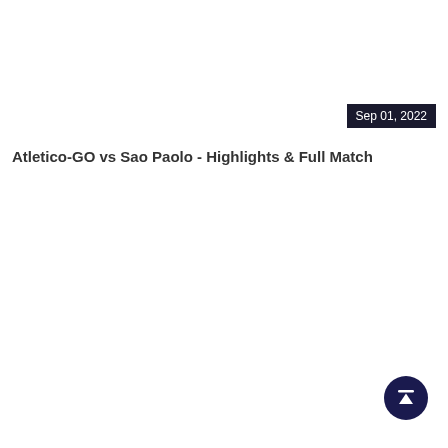Sep 01, 2022
Atletico-GO vs Sao Paolo - Highlights & Full Match
[Figure (illustration): Scroll to top circular button with upward arrow icon, dark navy background]